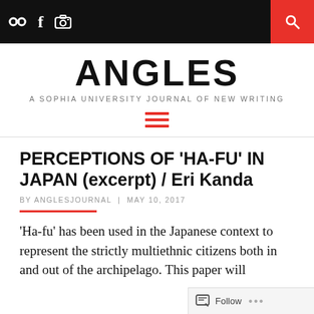ANGLES — A SOPHIA UNIVERSITY JOURNAL OF NEW WRITING
PERCEPTIONS OF 'HA-FU' IN JAPAN (excerpt) / Eri Kanda
BY ANGLESJOURNAL  |  MAY 10, 2017
'Ha-fu' has been used in the Japanese context to represent the strictly multiethnic citizens both in and out of the archipelago. This paper will